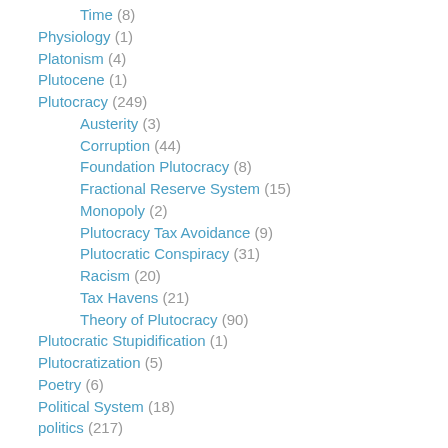Time (8)
Physiology (1)
Platonism (4)
Plutocene (1)
Plutocracy (249)
Austerity (3)
Corruption (44)
Foundation Plutocracy (8)
Fractional Reserve System (15)
Monopoly (2)
Plutocracy Tax Avoidance (9)
Plutocratic Conspiracy (31)
Racism (20)
Tax Havens (21)
Theory of Plutocracy (90)
Plutocratic Stupidification (1)
Plutocratization (5)
Poetry (6)
Political System (18)
politics (217)